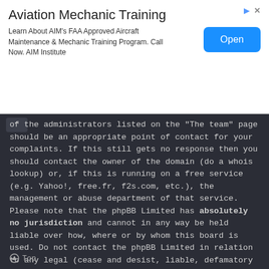[Figure (other): Advertisement banner for Aviation Mechanic Training with an Open button]
of the administrators listed on the "The team" page should be an appropriate point of contact for your complaints. If this still gets no response then you should contact the owner of the domain (do a whois lookup) or, if this is running on a free service (e.g. Yahoo!, free.fr, f2s.com, etc.), the management or abuse department of that service. Please note that the phpBB Limited has absolutely no jurisdiction and cannot in any way be held liable over how, where or by whom this board is used. Do not contact the phpBB Limited in relation to any legal (cease and desist, liable, defamatory comment, etc.) matter not directly related to the phpBB.com website or the discrete software of phpBB itself. If you do email phpBB Limited about any third party use of this software then you should expect a terse response or no response at all.
Top